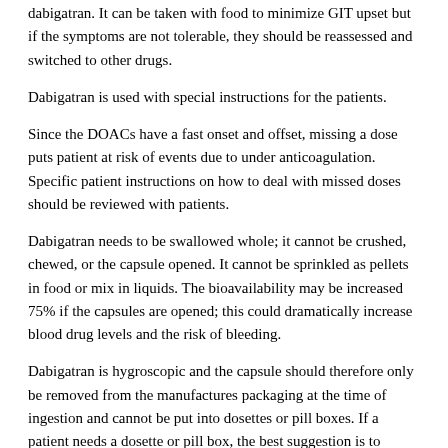dabigatran. It can be taken with food to minimize GIT upset but if the symptoms are not tolerable, they should be reassessed and switched to other drugs.
Dabigatran is used with special instructions for the patients.
Since the DOACs have a fast onset and offset, missing a dose puts patient at risk of events due to under anticoagulation. Specific patient instructions on how to deal with missed doses should be reviewed with patients.
Dabigatran needs to be swallowed whole; it cannot be crushed, chewed, or the capsule opened. It cannot be sprinkled as pellets in food or mix in liquids. The bioavailability may be increased 75% if the capsules are opened; this could dramatically increase blood drug levels and the risk of bleeding.
Dabigatran is hygroscopic and the capsule should therefore only be removed from the manufactures packaging at the time of ingestion and cannot be put into dosettes or pill boxes. If a patient needs a dosette or pill box, the best suggestion is to manually cut foil around capsule and place capsule into dosette in its original blister foil. This storage information is very important since it could have life-threatening consequences of subtherapeutic levels of dabigatran-related to reduced drug potency from not following the instructions.